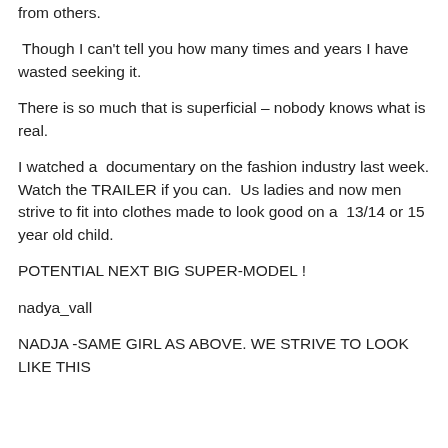from others.
Though I can't tell you how many times and years I have wasted seeking it.
There is so much that is superficial – nobody knows what is real.
I watched a  documentary on the fashion industry last week. Watch the TRAILER if you can.  Us ladies and now men strive to fit into clothes made to look good on a  13/14 or 15 year old child.
POTENTIAL NEXT BIG SUPER-MODEL !
nadya_vall
NADJA -SAME GIRL AS ABOVE. WE STRIVE TO LOOK LIKE THIS